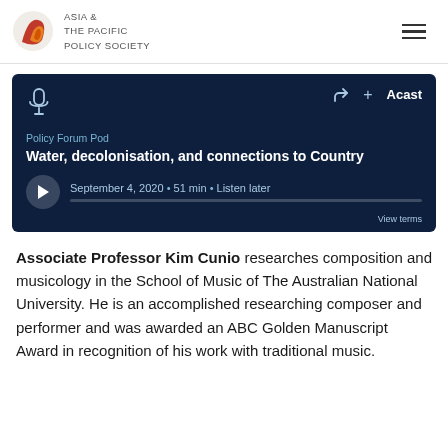ASIA & THE PACIFIC POLICY SOCIETY
[Figure (screenshot): Acast podcast embed player showing 'Policy Forum Pod' episode titled 'Water, decolonisation, and connections to Country', September 4, 2020, 51 min, with Listen later option]
Associate Professor Kim Cunio researches composition and musicology in the School of Music of The Australian National University. He is an accomplished researching composer and performer and was awarded an ABC Golden Manuscript Award in recognition of his work with traditional music.